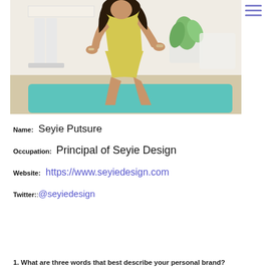[Figure (photo): Woman in yellow dress sitting on teal bench in a modern white interior with plant and chairs in background]
Name: Seyie Putsure
Occupation: Principal of Seyie Design
Website: https://www.seyiedesign.com
Twitter: @seyiedesign
1. What are three words that best describe your personal brand?